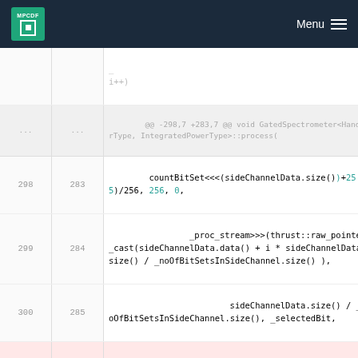MPCDF Menu
| old | new | code |
| --- | --- | --- |
| ... | ... | @@ -298,7 +283,7 @@ void GatedSpectrometer<HandlerType, IntegratedPowerType>::process( |
| 298 | 283 | countBitSet<<<(sideChannelData.size()+255)/256, 256, 0, |
| 299 | 284 |     _proc_stream>>>(thrust::raw_pointer_cast(sideChannelData.data() + i * sideChannelData.size() / _noOfBitSetsInSideChannel.size() ), |
| 300 | 285 |             sideChannelData.size() / _noOfBitSetsInSideChannel.size(), _selectedBit, |
| 301 |  | -             _nSideChannels, _selectedBit, |
|  | 286 | +     _dadaBufferLayout.getNSideChannels() _selectedBit, |